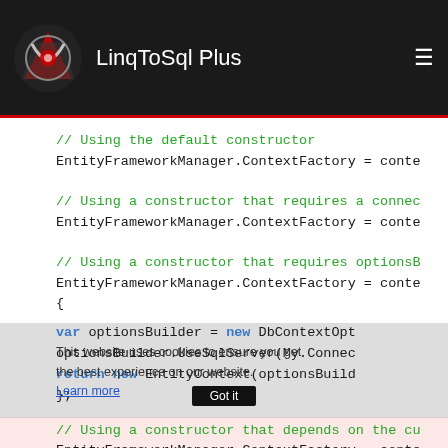LinqToSql Plus
[Figure (screenshot): Code snippet showing EntityFrameworkManager.ContextFactory usage with multiple constructor patterns (default, connection string, optionsBuilder, current context). Green comments, blue keywords, monospace font on white/salmon background with cookie consent overlay.]